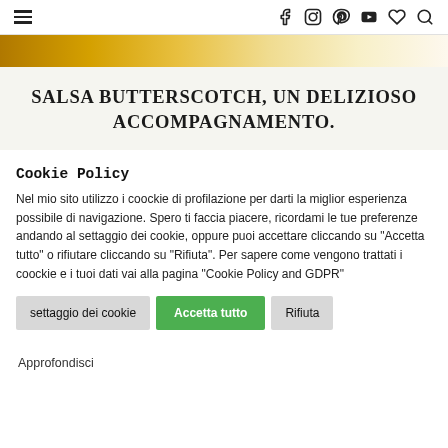≡  f  Instagram  Pinterest  YouTube  ♡  🔍
[Figure (illustration): Golden/yellow gradient banner strip]
SALSA BUTTERSCOTCH, UN DELIZIOSO ACCOMPAGNAMENTO.
Cookie Policy
Nel mio sito utilizzo i coockie di profilazione per darti la miglior esperienza possibile di navigazione. Spero ti faccia piacere, ricordami le tue preferenze andando al settaggio dei cookie, oppure puoi accettare cliccando su "Accetta tutto" o rifiutare cliccando su "Rifiuta". Per sapere come vengono trattati i coockie e i tuoi dati vai alla pagina "Cookie Policy and GDPR"
settaggio dei cookie   Accetta tutto   Rifiuta
Approfondisci